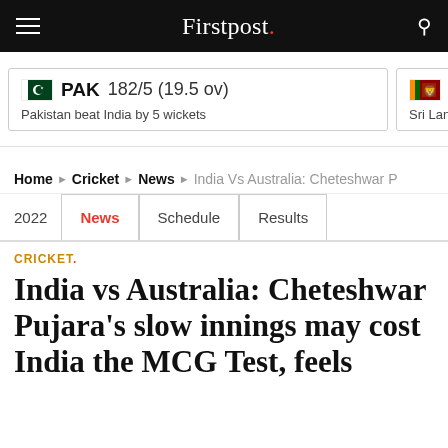Firstpost.
PAK  182/5 (19.5 ov)
Pakistan beat India by 5 wickets
SL
Sri Lanka b
Home > Cricket > News > India Vs Australia: Cheteshwar P
2022  |  News  |  Schedule  |  Results
CRICKET.
India vs Australia: Cheteshwar Pujara's slow innings may cost India the MCG Test, feels